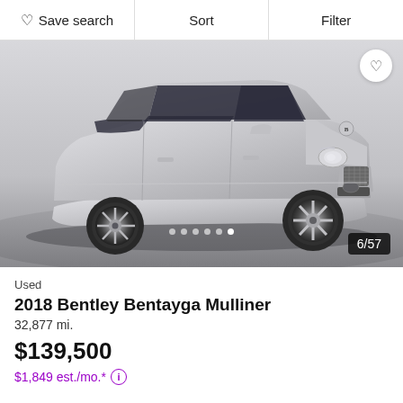Save search   Sort   Filter
[Figure (photo): Silver 2018 Bentley Bentayga Mulliner SUV photographed from a 3/4 front angle in a studio setting with grey floor. Image carousel showing 6 of 57 photos.]
Used
2018 Bentley Bentayga Mulliner
32,877 mi.
$139,500
$1,849 est./mo.*